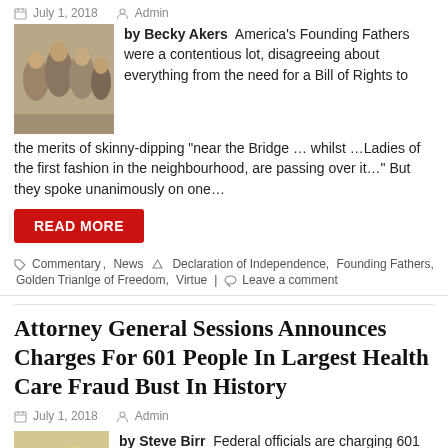July 1, 2018   Admin
by Becky Akers   America's Founding Fathers were a contentious lot, disagreeing about everything from the need for a Bill of Rights to the merits of skinny-dipping “near the Bridge … whilst …Ladies of the first fashion in the neighbourhood, are passing over it…” But they spoke unanimously on one…
READ MORE
Commentary, News   Declaration of Independence, Founding Fathers, Golden Trianlge of Freedom, Virtue   Leave a comment
Attorney General Sessions Announces Charges For 601 People In Largest Health Care Fraud Bust In History
July 1, 2018   Admin
by Steve Birr   Federal officials are charging 601